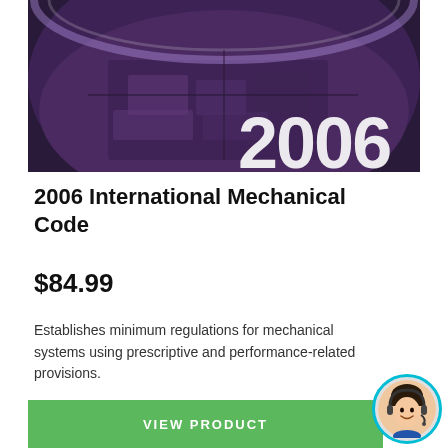[Figure (illustration): Book cover of the 2006 International Mechanical Code, showing an aerial fisheye-lens photograph of a city/industrial area with a purple tint, and the large number '2006' displayed in white at the bottom right of the image.]
2006 International Mechanical Code
$84.99
Establishes minimum regulations for mechanical systems using prescriptive and performance-related provisions.
VIEW PRODUCT